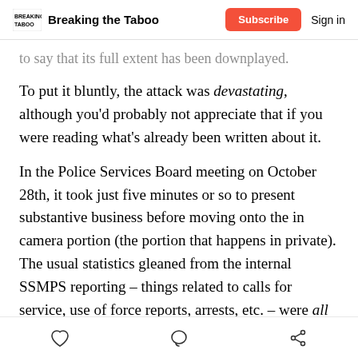Breaking the Taboo | Subscribe | Sign in
to say that its full extent has been downplayed.
To put it bluntly, the attack was devastating, although you'd probably not appreciate that if you were reading what's already been written about it.
In the Police Services Board meeting on October 28th, it took just five minutes or so to present substantive business before moving onto the in camera portion (the portion that happens in private). The usual statistics gleaned from the internal SSMPS reporting – things related to calls for service, use of force reports, arrests, etc. – were all missing because of the cyberattack. Chief Stevenson was the most candid anyone from the SSMPS